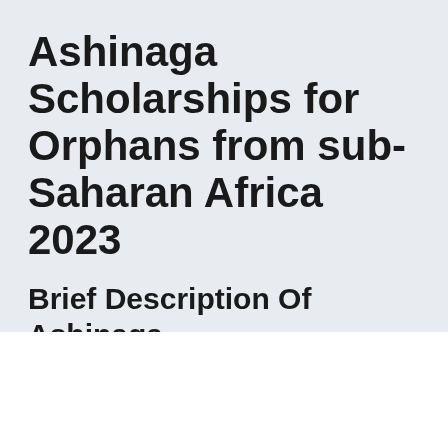Ashinaga Scholarships for Orphans from sub-Saharan Africa 2023
Brief Description Of Ashinaga
Ashinaga provides financial support and